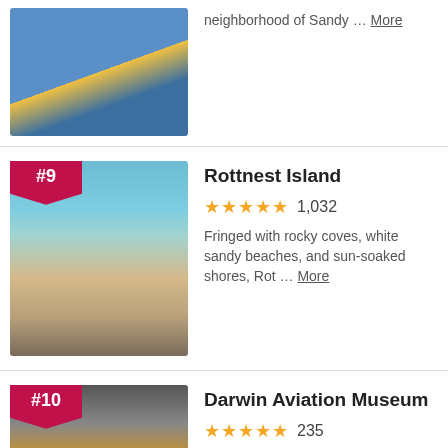[Figure (photo): Fishing boats at a harbor dock, yellow and blue boats visible]
neighborhood of Sandy … More
[Figure (photo): Rottnest Island beach scene with rocky coves and clear turquoise water]
Rottnest Island
1,032 reviews, 5 stars
Fringed with rocky coves, white sandy beaches, and sun-soaked shores, Rot … More
[Figure (photo): Darwin Aviation Museum interior with vintage yellow biplane aircraft on display]
Darwin Aviation Museum
235 reviews, 5 stars
More than a dozen full-size aircraft are on display at the Darwin Aviation Museun … More